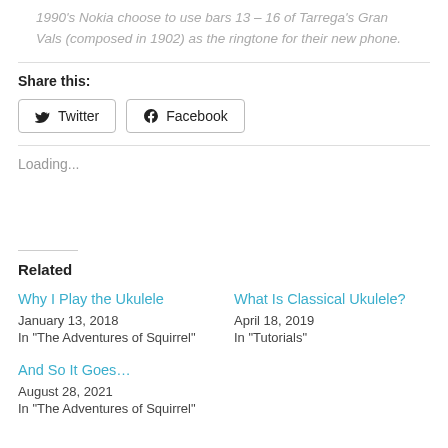1990's Nokia choose to use bars 13 – 16 of Tarrega's Gran Vals (composed in 1902) as the ringtone for their new phone.
Share this:
Twitter  Facebook
Loading...
Related
Why I Play the Ukulele
January 13, 2018
In "The Adventures of Squirrel"
What Is Classical Ukulele?
April 18, 2019
In "Tutorials"
And So It Goes…
August 28, 2021
In "The Adventures of Squirrel"